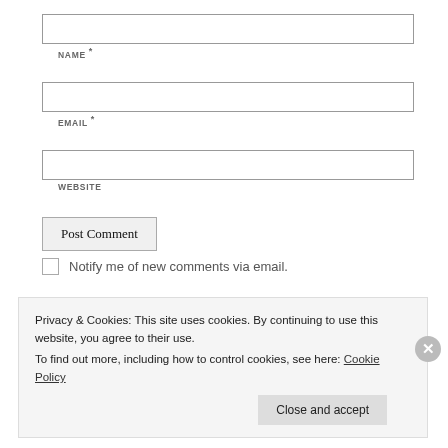NAME *
EMAIL *
WEBSITE
Post Comment
Notify me of new comments via email.
Privacy & Cookies: This site uses cookies. By continuing to use this website, you agree to their use. To find out more, including how to control cookies, see here: Cookie Policy
Close and accept